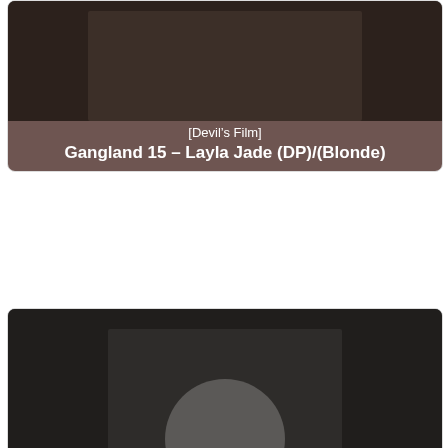[Figure (photo): Card 1: thumbnail image with label bar showing [Devil's Film] Gangland 15 - Layla Jade (DP)/(Blonde)]
[Figure (photo): Card 2: thumbnail image with label bar showing [Devil's Film] Gangland 27 - Layla Jade (DP)/(3M1F)]
[Figure (photo): Card 3: thumbnail image partially visible with label bar showing [Elegant Angel] Gang...]